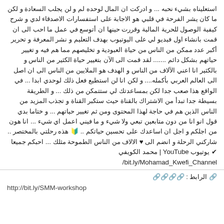استعليناه بشيء نحبه ... و ادركت ان المال لوحده لم و لن يجلب السعادة و لكن ما كان يشر الفرحة في قلبي هو الاجابة على استفسارات الاصدقاء لدي و شرح كيفية الوصول للحرية المالية وقررت حينها ان أتوسع في عمل ما احب الى ان قمت بانشاء اول فيديو لي على اليوتيوب بهدف التعليم و نشر المعرفة و تحرير أكبر عدد ممكن من الناس من حياة العبودية و تخليصهم مما هم فيه و تغيير حياتهم بشكل دائم ....... لقد قمت الى الآن بتغيير حياة الكثير من الناس و بالكثير انا اعني الآلاف من الناس و الهدف هو الملايين من الناس الى ان اصل الى العالم العربي بأكمله.... و لكن انا لن استطيع فعل ذلك لوحدي ابدا ... في الواقع هذا صعب جدا لكن بمساعدتك لي ستتمكن من ذلك ... و الطريقة بسيطة جدا تبدأ من الاشتراك بالقناة حيث ستكبر القناة و تجذب المزيد من الناس الذين هم في حاجة لهذا المحتوى ومن ثم تغيير حياتهم ... و ختاما بدي قول انو انا من دون متابعين تبعي ولا شيء و ما فيني اعمل اي شيء ... انا هون من اجلكم و اجل ان اساعدك على تحسين حياتكم .. 🔰 هذه رحلتي بالمختصر .. شاركني الرحلة و انضم الى ♥ الالاف من الناس الطموحة مثلك ... احبكم جميعا ✔ يوتيوب YouTube | محمد الكويفي /bit.ly/Mohamad_Kwefi_Channel
🔗 الرابط : 🔗🔗🔗🔗
http://bit.ly/SMM-workshop